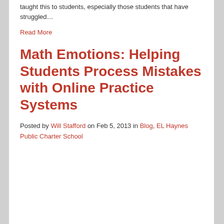taught this to students, especially those students that have struggled…
Read More
Math Emotions: Helping Students Process Mistakes with Online Practice Systems
Posted by Will Stafford on Feb 5, 2013 in Blog, EL Haynes Public Charter School